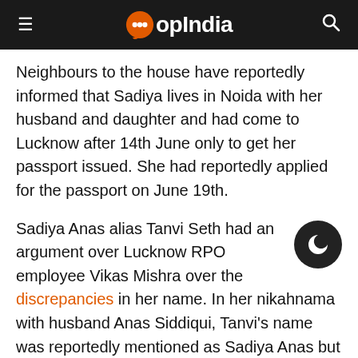OpIndia
Neighbours to the house have reportedly informed that Sadiya lives in Noida with her husband and daughter and had come to Lucknow after 14th June only to get her passport issued. She had reportedly applied for the passport on June 19th.
Sadiya Anas alias Tanvi Seth had an argument over Lucknow RPO employee Vikas Mishra over the discrepancies in her name. In her nikahnama with husband Anas Siddiqui, Tanvi's name was reportedly mentioned as Sadiya Anas but she had applied for her passport in the name of Tanvi Seth.
Reports claim that after the police verification report, Sadiya alias Tanvi's passport which was promptly